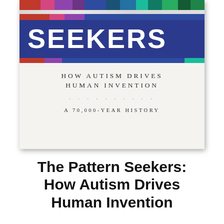[Figure (illustration): Book cover of 'The Pattern Seekers: How Autism Drives Human Invention — A 70,000-Year History'. The cover features colorful vertical stripes at the top in various hues (red, pink, purple, blue, teal, green), a large dark navy blue band with 'SEEKERS' in large white bold letters, and subtitle text below on a light gray/white background reading 'HOW AUTISM DRIVES HUMAN INVENTION' and 'A 70,000-YEAR HISTORY'.]
The Pattern Seekers: How Autism Drives Human Invention